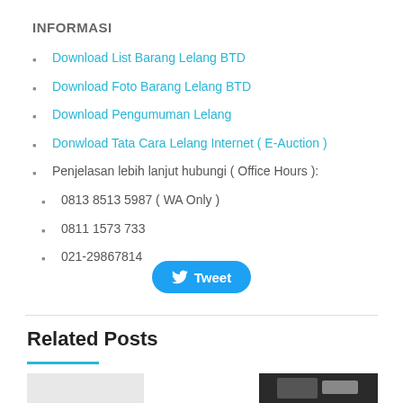INFORMASI
Download List Barang Lelang BTD
Download Foto Barang Lelang BTD
Download Pengumuman Lelang
Donwload Tata Cara Lelang Internet ( E-Auction )
Penjelasan lebih lanjut hubungi ( Office Hours ):
0813 8513 5987 ( WA Only )
0811 1573 733
021-29867814
[Figure (other): Tweet button with Twitter bird icon]
Related Posts
[Figure (photo): Two thumbnail images for related posts (left: grey placeholder, right: dark image of a device/book)]